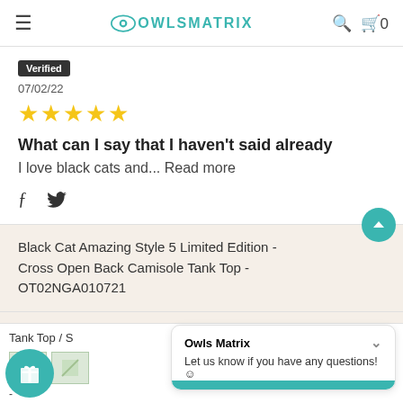≡  OwlsMatrix  🔍 🛒 0
Verified
07/02/22
★★★★★
What can I say that I haven't said already
I love black cats and... Read more
Black Cat Amazing Style 5 Limited Edition - Cross Open Back Camisole Tank Top - OT02NGA010721
Tank Top / S
Owls Matrix
Let us know if you have any questions! 😊